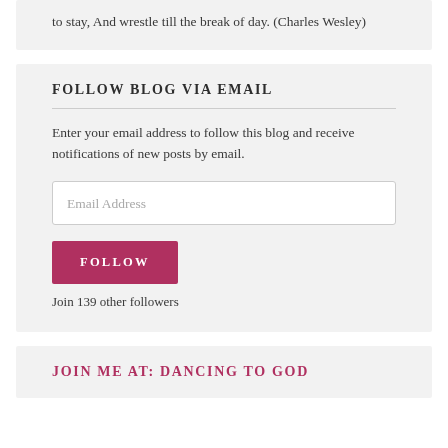to stay, And wrestle till the break of day. (Charles Wesley)
FOLLOW BLOG VIA EMAIL
Enter your email address to follow this blog and receive notifications of new posts by email.
Email Address
FOLLOW
Join 139 other followers
JOIN ME AT: DANCING TO GOD